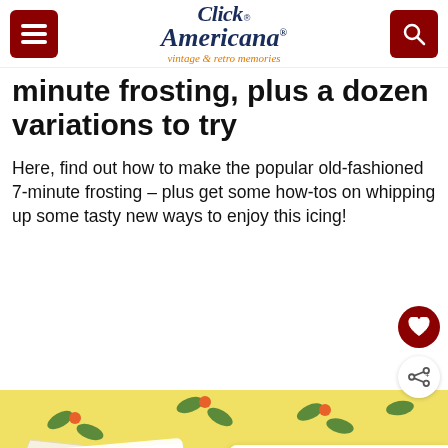Click Americana vintage & retro memories
minute frosting, plus a dozen variations to try
Here, find out how to make the popular old-fashioned 7-minute frosting – plus get some how-tos on whipping up some tasty new ways to enjoy this icing!
[Figure (photo): Photo of a white frosted cake slice on a yellow patterned tablecloth with green leaf and orange berry decorations]
WHAT'S NEXT → Jell-O Crown JewelWindo...
Even if I wanted to be adopted, who would
[Figure (logo): Dave Thomas Foundation for Adoption logo]